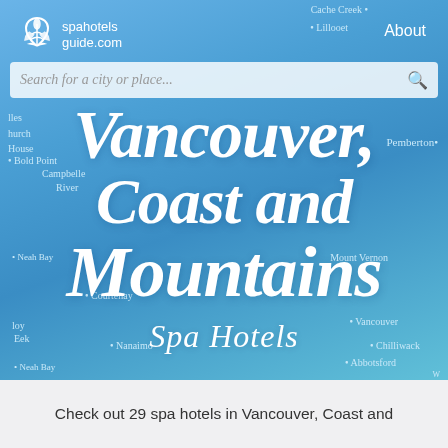[Figure (screenshot): SpaHotelsGuide.com website screenshot showing a blue map background with search bar, logo, and large italic title text 'Vancouver, Coast and Mountains Spa Hotels']
Vancouver, Coast and Mountains
Spa Hotels
Check out 29 spa hotels in Vancouver, Coast and